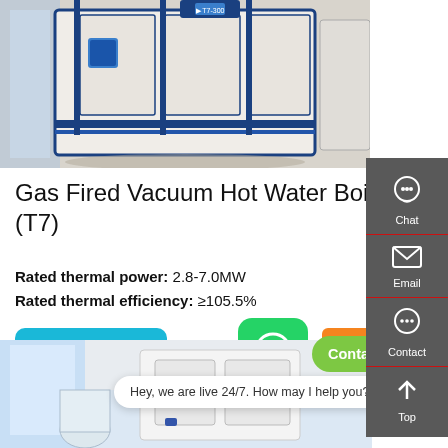[Figure (photo): Gas Fired Vacuum Hot Water Boiler (T7) product photo showing a large white and blue industrial boiler unit in an indoor setting]
Gas Fired Vacuum Hot Water Boiler (T7)
Rated thermal power: 2.8-7.0MW
Rated thermal efficiency: ≥105.5%
Learn More
[Figure (other): WhatsApp contact button icon]
Contact us now!
[Figure (other): Sidebar with Chat, Email, Contact, Top navigation icons on dark grey background]
[Figure (photo): Bottom product image showing another boiler/water heater in an indoor setting]
Hey, we are live 24/7. How may I help you?